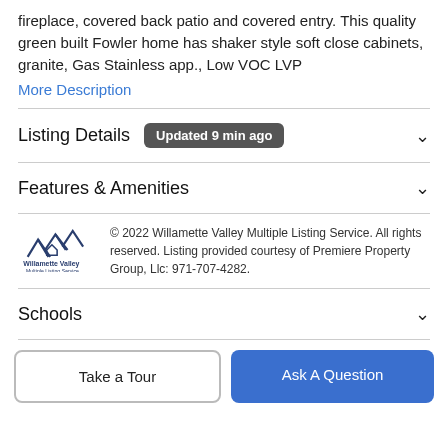fireplace, covered back patio and covered entry. This quality green built Fowler home has shaker style soft close cabinets, granite, Gas Stainless app., Low VOC LVP
More Description
Listing Details  Updated 9 min ago
Features & Amenities
© 2022 Willamette Valley Multiple Listing Service. All rights reserved. Listing provided courtesy of Premiere Property Group, Llc: 971-707-4282.
Schools
Take a Tour
Ask A Question